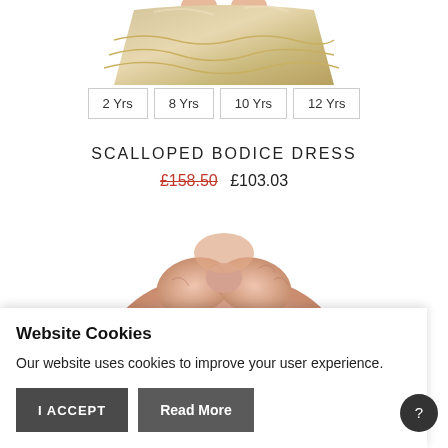[Figure (photo): Top portion of a gold/silver metallic ruffled dress product photo, cropped at top]
2 Yrs
8 Yrs
10 Yrs
12 Yrs
SCALLOPED BODICE DRESS
£158.50  £103.03
[Figure (photo): Top portion of a pink faux fur jacket product photo]
Website Cookies
Our website uses cookies to improve your user experience.
I ACCEPT   Read More